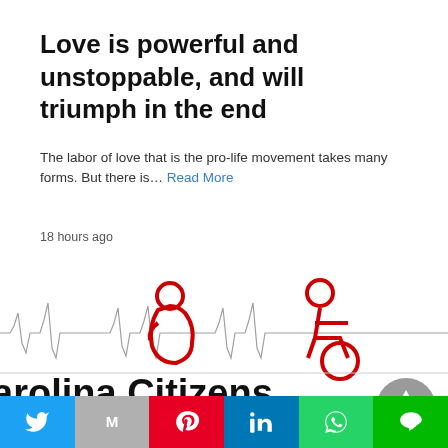Love is powerful and unstoppable, and will triumph in the end
The labor of love that is the pro-life movement takes many forms.  But there is… Read More
18 hours ago
[Figure (photo): Composite image showing two red disability/pregnancy icons over a heartbeat/EKG waveform background, with text 'Carolina Citizens' and 'ST CIVIL RIGHT IS THE RIGH' partially visible, and a scroll-to-top button overlay]
Twitter | Mail | Pinterest | LinkedIn | WhatsApp | Line share buttons